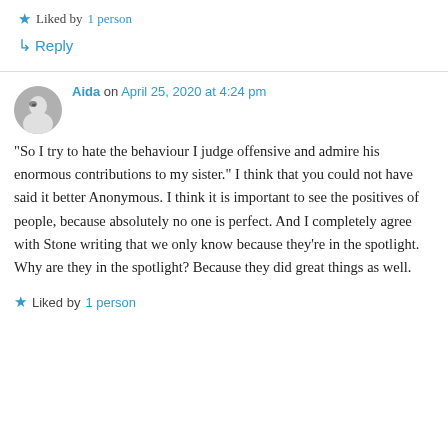and Fitzcarraldo.
★ Liked by 1 person
↳ Reply
Aida on April 25, 2020 at 4:24 pm
“So I try to hate the behaviour I judge offensive and admire his enormous contributions to my sister.” I think that you could not have said it better Anonymous. I think it is important to see the positives of people, because absolutely no one is perfect. And I completely agree with Stone writing that we only know because they’re in the spotlight. Why are they in the spotlight? Because they did great things as well.
★ Liked by 1 person